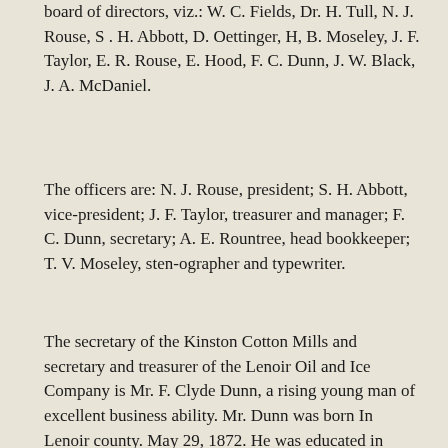board of directors, viz.: W. C. Fields, Dr. H. Tull, N. J. Rouse, S . H. Abbott, D. Oettinger, H, B. Moseley, J. F. Taylor, E. R. Rouse, E. Hood, F. C. Dunn, J. W. Black, J. A. McDaniel.
The officers are: N. J. Rouse, president; S. H. Abbott, vice-president; J. F. Taylor, treasurer and manager; F. C. Dunn, secretary; A. E. Rountree, head bookkeeper; T. V. Moseley, sten-ographer and typewriter.
The secretary of the Kinston Cotton Mills and secretary and treasurer of the Lenoir Oil and Ice Company is Mr. F. Clyde Dunn, a rising young man of excellent business ability. Mr. Dunn was born In Lenoir county. May 29, 1872. He was educated in Kinston under Professor Joseph Kinsey in the graded schools. He then studied at the